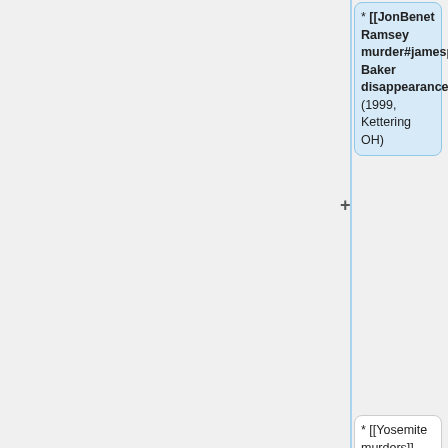[Figure (flowchart): Wikipedia article comparison flowchart showing nodes with article links for various crimes (JonBenet Ramsey, Yosemite murders, Columbine school shooting, Jessica Dishon murder) with blue highlighted nodes on the right representing wiki-linked versions and white/yellow nodes on the left representing plain text versions. Plus and minus signs indicate additions/removals.]